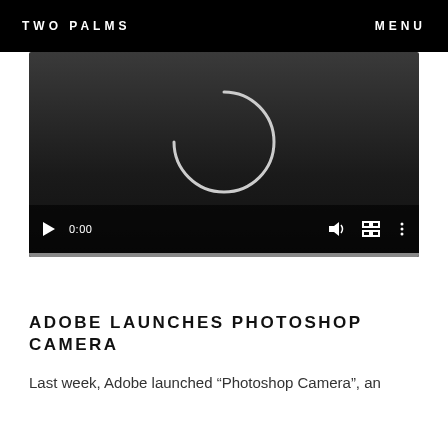TWO PALMS   MENU
[Figure (screenshot): Video player showing a loading spinner (arc) in the center of a dark gray background. Controls at the bottom show a play button, time display '0:00', speaker icon, fullscreen icon, and options icon. A progress bar is at the very bottom.]
ADOBE LAUNCHES PHOTOSHOP CAMERA
Last week, Adobe launched "Photoshop Camera", an